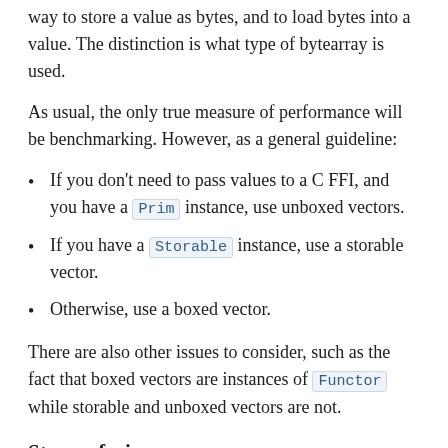way to store a value as bytes, and to load bytes into a value. The distinction is what type of bytearray is used.
As usual, the only true measure of performance will be benchmarking. However, as a general guideline:
If you don't need to pass values to a C FFI, and you have a Prim instance, use unboxed vectors.
If you have a Storable instance, use a storable vector.
Otherwise, use a boxed vector.
There are also other issues to consider, such as the fact that boxed vectors are instances of Functor while storable and unboxed vectors are not.
Stream fusion